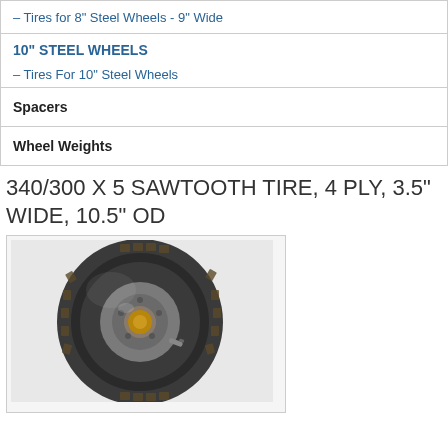- Tires for 8" Steel Wheels - 9" Wide
10" STEEL WHEELS
- Tires For 10" Steel Wheels
Spacers
Wheel Weights
340/300 X 5 SAWTOOTH TIRE, 4 PLY, 3.5" WIDE, 10.5" OD
[Figure (photo): Photo of a sawtooth pattern small tire/wheel assembly, black rubber with visible tread pattern and metal hub with valve stem]